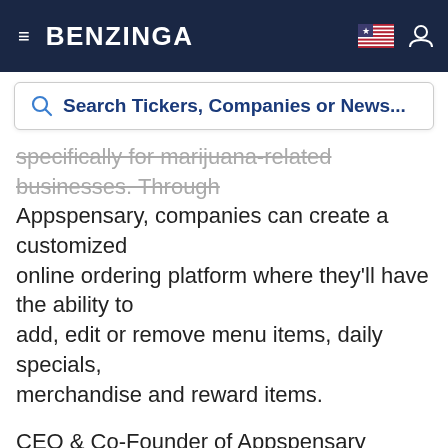BENZINGA
Search Tickers, Companies or News...
specifically for marijuana-related businesses. Through Appspensary, companies can create a customized online ordering platform where they'll have the ability to add, edit or remove menu items, daily specials, merchandise and reward items.
CEO & Co-Founder of Appspensary Jonathan Bachanov joined Benzinga's Virtual Cannabis Capital Conference to discuss the challenges and solutions to technology in the cannabis industry with three other entrepreneurs in the space.
“At our company, we see that technology is going to be at the forefront of the...